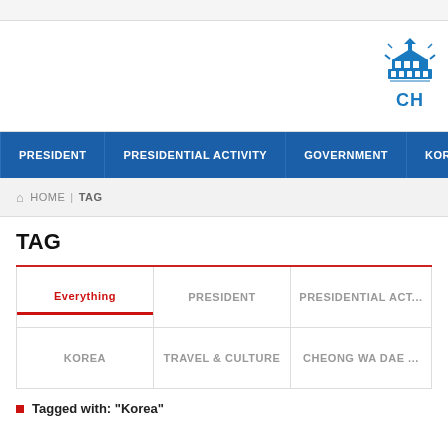[Figure (logo): Cheong Wa Dae (Blue House) Korean presidential website logo — blue pagoda-style building icon with 'CH' text below]
PRESIDENT | PRESIDENTIAL ACTIVITY | GOVERNMENT | KOR...
HOME | TAG
TAG
| Everything | PRESIDENT | PRESIDENTIAL ACT... |
| --- | --- | --- |
| KOREA | TRAVEL & CULTURE | CHEONG WA DAE ... |
Tagged with: "Korea"